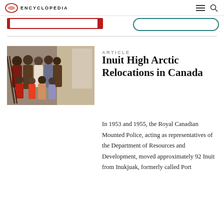ENCYCLOPEDIA
[Figure (photo): Group photo of Inuit people including adults and children, standing together indoors, some wearing colorful clothing]
ARTICLE
Inuit High Arctic Relocations in Canada
In 1953 and 1955, the Royal Canadian Mounted Police, acting as representatives of the Department of Resources and Development, moved approximately 92 Inuit from Inukjuak, formerly called Port Harrison, to Northern Canada